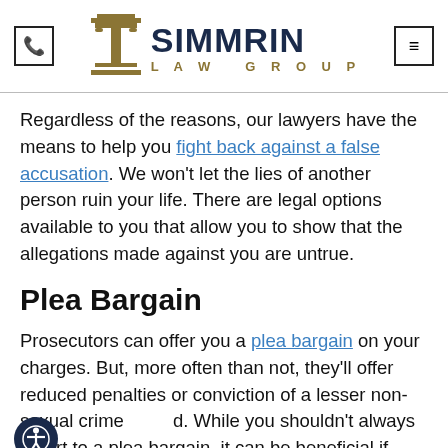Simmrin Law Group
Regardless of the reasons, our lawyers have the means to help you fight back against a false accusation. We won't let the lies of another person ruin your life. There are legal options available to you that allow you to show that the allegations made against you are untrue.
Plea Bargain
Prosecutors can offer you a plea bargain on your charges. But, more often than not, they'll offer reduced penalties or conviction of a lesser non-sexual crime d. While you shouldn't always resort to a plea bargain, it can be beneficial if going to trial is risky on